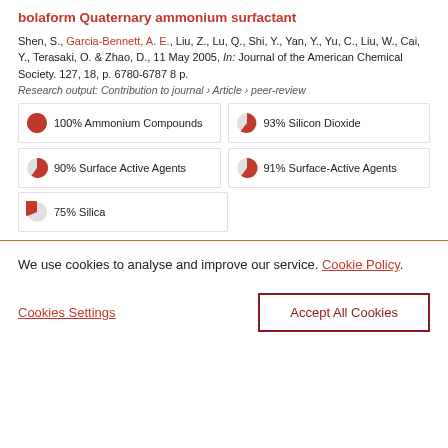bolaform Quaternary ammonium surfactant
Shen, S., Garcia-Bennett, A. E., Liu, Z., Lu, Q., Shi, Y., Yan, Y., Yu, C., Liu, W., Cai, Y., Terasaki, O. & Zhao, D., 11 May 2005, In: Journal of the American Chemical Society. 127, 18, p. 6780-6787 8 p.
Research output: Contribution to journal › Article › peer-review
100% Ammonium Compounds
93% Silicon Dioxide
90% Surface Active Agents
91% Surface-Active Agents
75% Silica
We use cookies to analyse and improve our service. Cookie Policy
Cookies Settings
Accept All Cookies